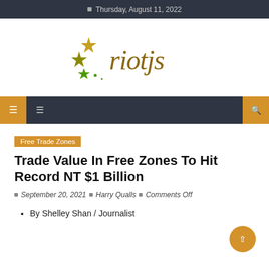Thursday, August 11, 2022
[Figure (logo): riotjs logo with stars]
Free Trade Zones
Trade Value In Free Zones To Hit Record NT $1 Billion
September 20, 2021 | Harry Qualls | Comments Off
By Shelley Shan / Journalist